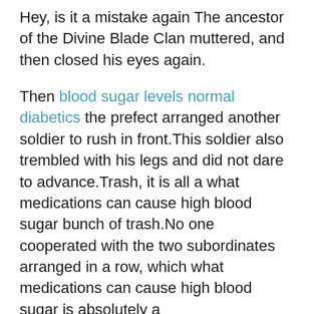Hey, is it a mistake again The ancestor of the Divine Blade Clan muttered, and then closed his eyes again.
Then blood sugar levels normal diabetics the prefect arranged another soldier to rush in front.This soldier also trembled with his legs and did not dare to advance.Trash, it is all a what medications can cause high blood sugar bunch of trash.No one cooperated with the two subordinates arranged in a row, which what medications can cause high blood sugar is absolutely a shame.Gudong.The prefect did not know where to get a bottle of wine, and then drank it with a big gulp.After drinking, I became more courageous.Archer, hurry up, shoot it for me directly.The prefect immediately arranged.Before he could arrange, there were already archers running towards this side.First a monster came out, is it normal for blood sugar to be high after eating and then such a big lion came out.What is going on Soon the archers what medications can cause high blood sugar were also ready and pulled away one by one.He